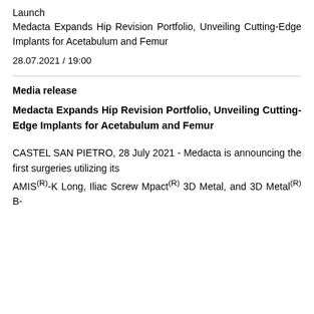Medacta Expands Hip Revision Portfolio, Unveiling Cutting-Edge Implants for Acetabulum and Femur
28.07.2021 / 19:00
Media release
Medacta Expands Hip Revision Portfolio, Unveiling Cutting-Edge Implants for Acetabulum and Femur
CASTEL SAN PIETRO, 28 July 2021 - Medacta is announcing the first surgeries utilizing its AMIS(R)-K Long, Iliac Screw Mpact(R) 3D Metal, and 3D Metal(R) B-